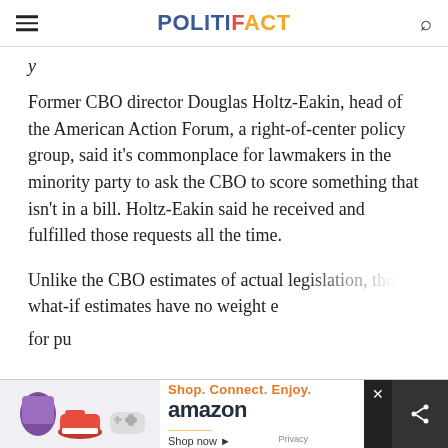POLITIFACT
Former CBO director Douglas Holtz-Eakin, head of the American Action Forum, a right-of-center policy group, said it’s commonplace for lawmakers in the minority party to ask the CBO to score something that isn’t in a bill. Holtz-Eakin said he received and fulfilled those requests all the time.
Unlike the CBO estimates of actual legislation, those what-if estimates have no weight e for pu